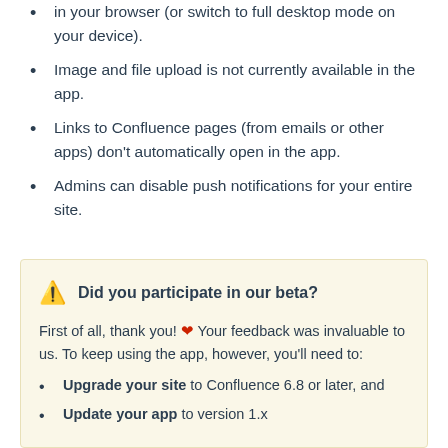in your browser (or switch to full desktop mode on your device).
Image and file upload is not currently available in the app.
Links to Confluence pages (from emails or other apps) don't automatically open in the app.
Admins can disable push notifications for your entire site.
Did you participate in our beta?
First of all, thank you! ❤ Your feedback was invaluable to us. To keep using the app, however, you'll need to:
Upgrade your site to Confluence 6.8 or later, and
Update your app to version 1.x